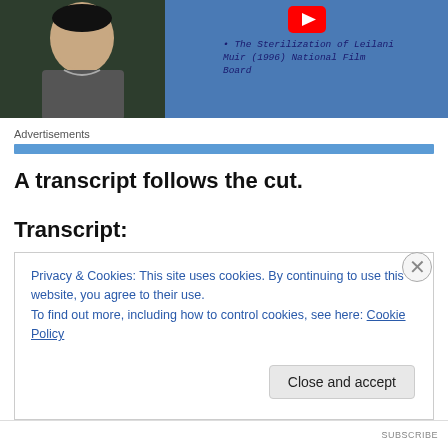[Figure (screenshot): Video thumbnail showing a person on the left side against a dark background, and a blue slide on the right with a YouTube play button and text reading 'The Sterilization of Leilani Muir (1996) National Film Board']
Advertisements
A transcript follows the cut.
Transcript:
Privacy & Cookies: This site uses cookies. By continuing to use this website, you agree to their use.
To find out more, including how to control cookies, see here: Cookie Policy
Close and accept